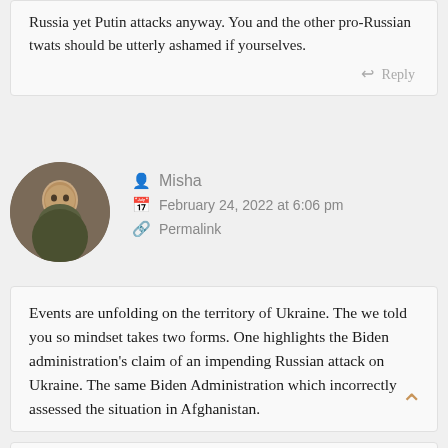Russia yet Putin attacks anyway. You and the other pro-Russian twats should be utterly ashamed if yourselves.
Reply
Misha
February 24, 2022 at 6:06 pm
Permalink
Events are unfolding on the territory of Ukraine. The we told you so mindset takes two forms. One highlights the Biden administration's claim of an impending Russian attack on Ukraine. The same Biden Administration which incorrectly assessed the situation in Afghanistan.
Here's another we told you so consideration. The